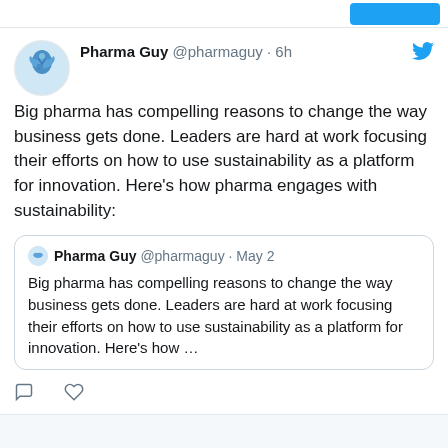[Figure (screenshot): Twitter/social media screenshot showing a tweet by Pharma Guy (@pharmaguy) posted 6h ago about big pharma and sustainability, with a quoted tweet of a May 2 post by the same user with similar content.]
Pharma Guy @pharmaguy · 6h
Big pharma has compelling reasons to change the way business gets done. Leaders are hard at work focusing their efforts on how to use sustainability as a platform for innovation. Here's how pharma engages with sustainability:
Pharma Guy @pharmaguy · May 2
Big pharma has compelling reasons to change the way business gets done. Leaders are hard at work focusing their efforts on how to use sustainability as a platform for innovation. Here's how ...
- Advertisement -